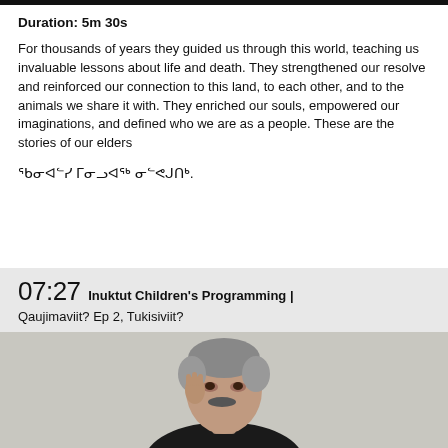Duration: 5m 30s
For thousands of years they guided us through this world, teaching us invaluable lessons about life and death. They strengthened our resolve and reinforced our connection to this land, to each other, and to the animals we share it with. They enriched our souls, empowered our imaginations, and defined who we are as a people. These are the stories of our elders
ᖃᓂᐊᓪᓯ ᒥᓂᓗᐊᖅ ᓂᓪᕙᒍᑎᒃ.
07:27 Inuktut Children's Programming | Qaujimaviit? Ep 2, Tukisiviit?
[Figure (photo): An elderly man with grey hair and a mustache, photographed against a light background, looking slightly to one side with his hand near his face.]